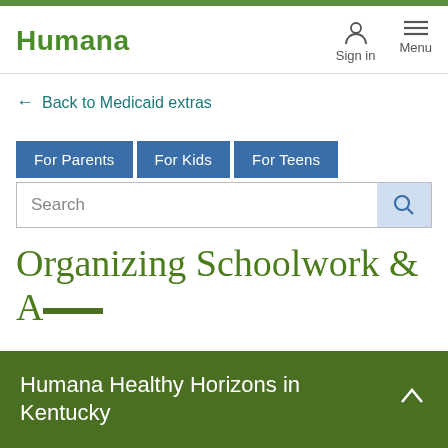Humana | Sign in | Menu
← Back to Medicaid extras
For Parents | For Kids | For Teens
Search
Organizing Schoolwork &
Humana Healthy Horizons in Kentucky